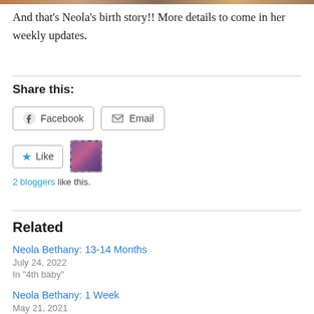[Figure (photo): Top strip showing partial photo image]
And that's Neola's birth story!! More details to come in her weekly updates.
Share this:
Facebook  Email (share buttons)
Like button with avatar. 2 bloggers like this.
Related
Neola Bethany: 13-14 Months
July 24, 2022
In "4th baby"
Neola Bethany: 1 Week
May 21, 2021